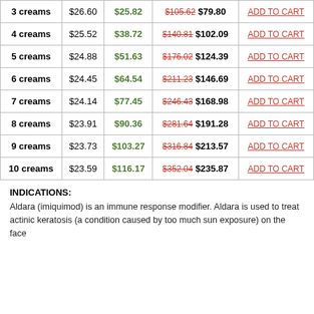|  | Per Unit | You Save | Price |  |
| --- | --- | --- | --- | --- |
| 3 creams | $26.60 | $25.82 | $105.62 $79.80 | ADD TO CART |
| 4 creams | $25.52 | $38.72 | $140.81 $102.09 | ADD TO CART |
| 5 creams | $24.88 | $51.63 | $176.02 $124.39 | ADD TO CART |
| 6 creams | $24.45 | $64.54 | $211.23 $146.69 | ADD TO CART |
| 7 creams | $24.14 | $77.45 | $246.43 $168.98 | ADD TO CART |
| 8 creams | $23.91 | $90.36 | $281.64 $191.28 | ADD TO CART |
| 9 creams | $23.73 | $103.27 | $316.84 $213.57 | ADD TO CART |
| 10 creams | $23.59 | $116.17 | $352.04 $235.87 | ADD TO CART |
INDICATIONS:
Aldara (imiquimod) is an immune response modifier. Aldara is used to treat actinic keratosis (a condition caused by too much sun exposure) on the face